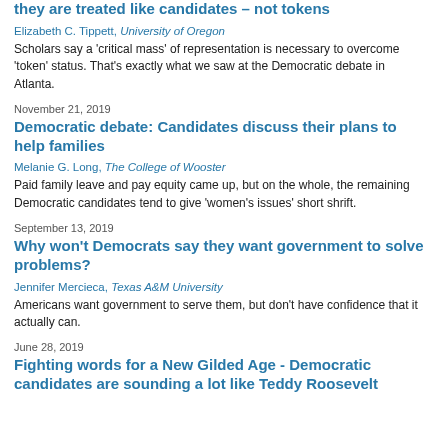they are treated like candidates – not tokens
Elizabeth C. Tippett, University of Oregon
Scholars say a 'critical mass' of representation is necessary to overcome 'token' status. That's exactly what we saw at the Democratic debate in Atlanta.
November 21, 2019
Democratic debate: Candidates discuss their plans to help families
Melanie G. Long, The College of Wooster
Paid family leave and pay equity came up, but on the whole, the remaining Democratic candidates tend to give 'women's issues' short shrift.
September 13, 2019
Why won't Democrats say they want government to solve problems?
Jennifer Mercieca, Texas A&M University
Americans want government to serve them, but don't have confidence that it actually can.
June 28, 2019
Fighting words for a New Gilded Age - Democratic candidates are sounding a lot like Teddy Roosevelt